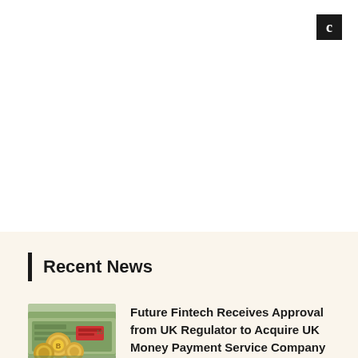[Figure (logo): Black square with white letter C, top-right corner logo]
Recent News
[Figure (photo): Photo of coins and currency notes, fintech/money imagery]
Future Fintech Receives Approval from UK Regulator to Acquire UK Money Payment Service Company